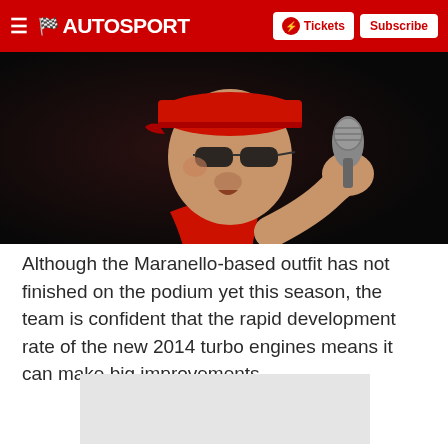AUTOSPORT — Tickets | Subscribe
[Figure (photo): Man in red Ferrari cap and red vest speaking into a microphone, photographed against a dark background]
Although the Maranello-based outfit has not finished on the podium yet this season, the team is confident that the rapid development rate of the new 2014 turbo engines means it can make big improvements.
[Figure (other): Advertisement placeholder block (light grey rectangle)]